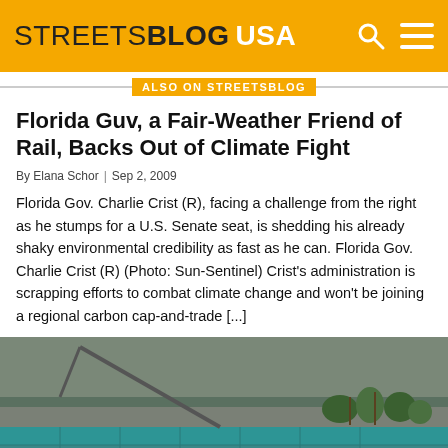STREETSBLOG USA
ALSO ON STREETSBLOG
Florida Guv, a Fair-Weather Friend of Rail, Backs Out of Climate Fight
By Elana Schor | Sep 2, 2009
Florida Gov. Charlie Crist (R), facing a challenge from the right as he stumps for a U.S. Senate seat, is shedding his already shaky environmental credibility as fast as he can. Florida Gov. Charlie Crist (R) (Photo: Sun-Sentinel) Crist's administration is scrapping efforts to combat climate change and won't be joining a regional carbon cap-and-trade [...]
[Figure (photo): Aerial or elevated view of a construction crane and infrastructure, likely a transit or rail project, with orange/teal colored structures visible.]